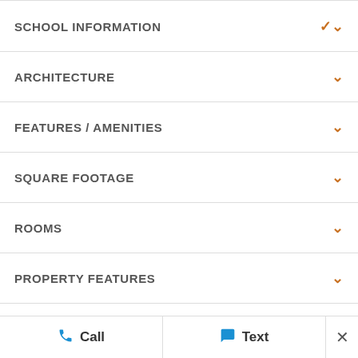SCHOOL INFORMATION
ARCHITECTURE
FEATURES / AMENITIES
SQUARE FOOTAGE
ROOMS
PROPERTY FEATURES
TAX AND FINANCIAL INFO
SCHOOLS
Accept and Close ✕
Call
Text